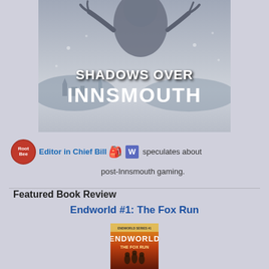[Figure (illustration): Book cover for 'Shadows Over Innsmouth' showing a dark, moody horror scene with a large supernatural creature figure against a snowy town background, with title text in white bold distressed font]
Editor in Chief Bill 🎒 W speculates about post-Innsmouth gaming.
Featured Book Review
Endworld #1: The Fox Run
[Figure (illustration): Book cover for 'Endworld: The Fox Run' showing post-apocalyptic figures on an orange/fiery background]